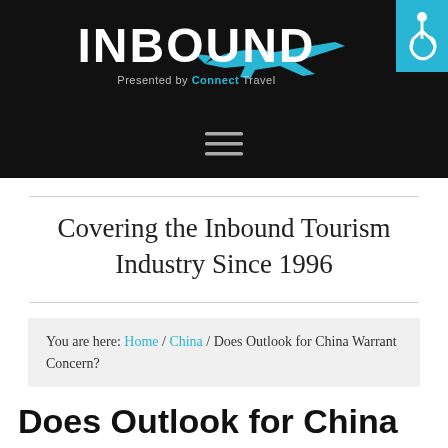INBOUND - Presented by Connect Travel
Covering the Inbound Tourism Industry Since 1996
You are here: Home / China / Does Outlook for China Warrant Concern?
Does Outlook for China